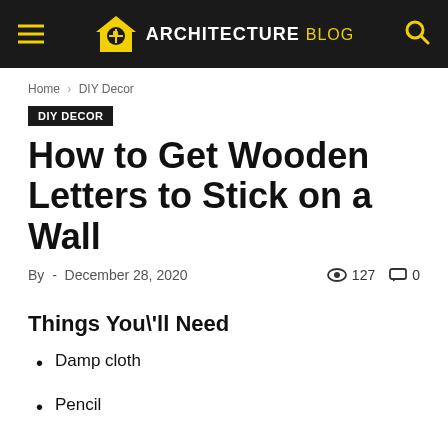ARCHITECTURE blog
Home › DIY Decor
DIY Decor
How to Get Wooden Letters to Stick on a Wall
By  -  December 28, 2020   127   0
Things You\'ll Need
Damp cloth
Pencil